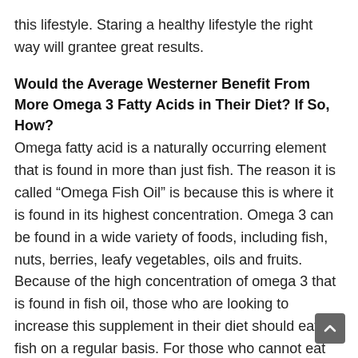this lifestyle. Staring a healthy lifestyle the right way will grantee great results.
Would the Average Westerner Benefit From More Omega 3 Fatty Acids in Their Diet? If So, How?
Omega fatty acid is a naturally occurring element that is found in more than just fish. The reason it is called “Omega Fish Oil” is because this is where it is found in its highest concentration. Omega 3 can be found in a wide variety of foods, including fish, nuts, berries, leafy vegetables, oils and fruits. Because of the high concentration of omega 3 that is found in fish oil, those who are looking to increase this supplement in their diet should eat fish on a regular basis. For those who cannot eat fish, there are other ways to reach your dietary recommendation without taking a supplement.